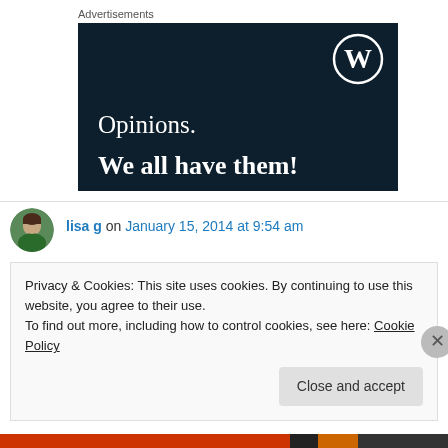Advertisements
[Figure (illustration): WordPress advertisement banner with dark navy background showing WordPress logo (W in circle) at top right, text 'Opinions.' in white serif font, and 'We all have them!' in bold white serif font below]
lisa g on January 15, 2014 at 9:54 am
Privacy & Cookies: This site uses cookies. By continuing to use this website, you agree to their use.
To find out more, including how to control cookies, see here: Cookie Policy